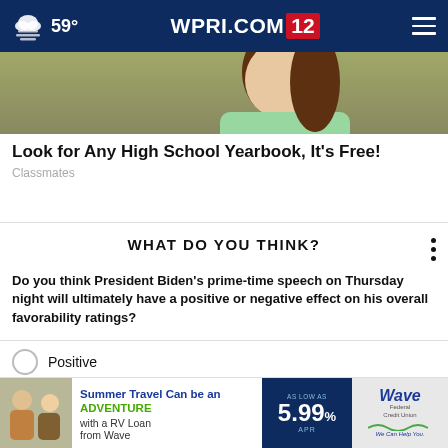59° WPRI.COM 12
[Figure (photo): Woman in light green sweater with brown hair, partial view]
Look for Any High School Yearbook, It's Free!
Classmates
WHAT DO YOU THINK?
Do you think President Biden's prime-time speech on Thursday night will ultimately have a positive or negative effect on his overall favorability ratings?
Positive
Negative
No change
Other / No opinion
[Figure (advertisement): Wave Federal Credit Union RV Loan ad: Summer Travel Can be an ADVENTURE with a RV Loan from Wave, As low as 5.99% APR]